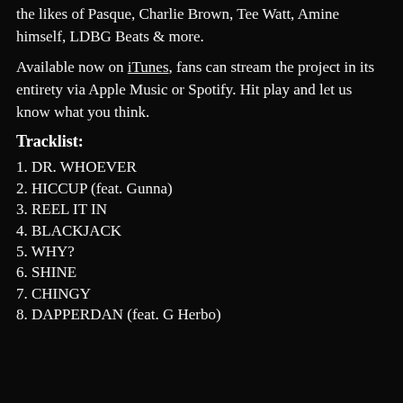the likes of Pasque, Charlie Brown, Tee Watt, Amine himself, LDBG Beats & more.
Available now on iTunes, fans can stream the project in its entirety via Apple Music or Spotify. Hit play and let us know what you think.
Tracklist:
1. DR. WHOEVER
2. HICCUP (feat. Gunna)
3. REEL IT IN
4. BLACKJACK
5. WHY?
6. SHINE
7. CHINGY
8. DAPPERDAN (feat. G Herbo)